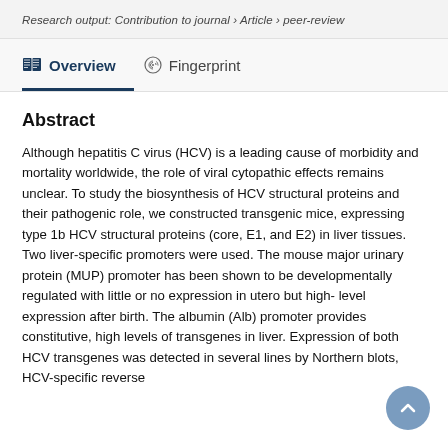Research output: Contribution to journal › Article › peer-review
Overview   Fingerprint
Abstract
Although hepatitis C virus (HCV) is a leading cause of morbidity and mortality worldwide, the role of viral cytopathic effects remains unclear. To study the biosynthesis of HCV structural proteins and their pathogenic role, we constructed transgenic mice, expressing type 1b HCV structural proteins (core, E1, and E2) in liver tissues. Two liver-specific promoters were used. The mouse major urinary protein (MUP) promoter has been shown to be developmentally regulated with little or no expression in utero but high- level expression after birth. The albumin (Alb) promoter provides constitutive, high levels of transgenes in liver. Expression of both HCV transgenes was detected in several lines by Northern blots, HCV-specific reverse